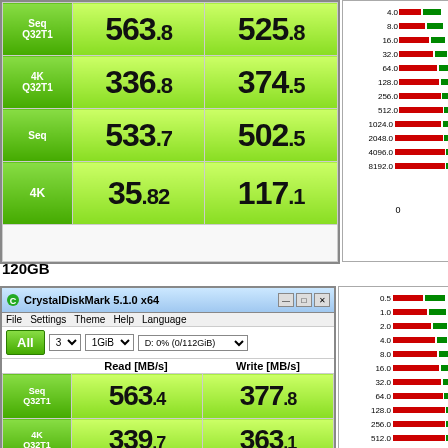[Figure (screenshot): CrystalDiskMark benchmark results (top portion, cropped) showing Seq Q32T1 Read 563.8 Write 525.8, 4K Q32T1 Read 336.8 Write 374.5, Seq Read 533.7 Write 502.5, 4K Read 35.82 Write 117.1, with a bar chart on the right side.]
120GB
[Figure (screenshot): CrystalDiskMark 5.1.0 x64 benchmark window for D: 0% (0/112GiB), showing All button, 3 runs, 1GiB test size. Results: Seq Q32T1 Read 563.4 Write 377.8, 4K Q32T1 Read 339.7 Write 363.1, Seq Read 534.2 Write 277.? (partially visible). Bar chart on right.]